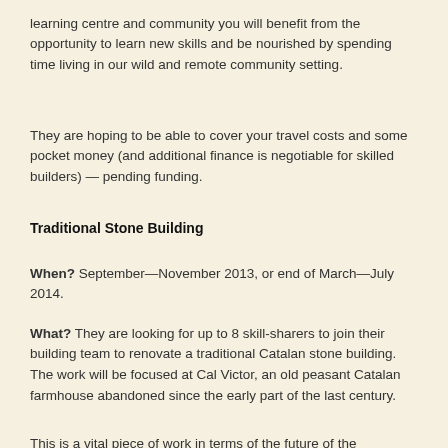learning centre and community you will benefit from the opportunity to learn new skills and be nourished by spending time living in our wild and remote community setting.
They are hoping to be able to cover your travel costs and some pocket money (and additional finance is negotiable for skilled builders) — pending funding.
Traditional Stone Building
When? September—November 2013, or end of March—July 2014.
What? They are looking for up to 8 skill-sharers to join their building team to renovate a traditional Catalan stone building. The work will be focused at Cal Victor, an old peasant Catalan farmhouse abandoned since the early part of the last century.
This is a vital piece of work in terms of the future of the Ecodharma community as it will provide the main